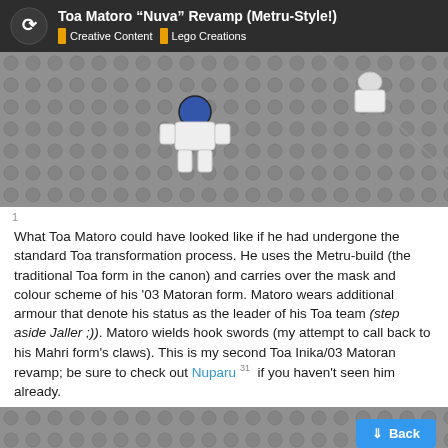Toa Matoro “Nuva” Revamp (Metru-Style!) | Creative Content | Lego Creations
[Figure (photo): Top-down view of a Lego BIONICLE Toa Matoro figure on a grey LEGO baseplate]
1
What Toa Matoro could have looked like if he had undergone the standard Toa transformation process. He uses the Metru-build (the traditional Toa form in the canon) and carries over the mask and colour scheme of his '03 Matoran form. Matoro wears additional armour that denote his status as the leader of his Toa team (step aside Jaller ;)). Matoro wields hook swords (my attempt to call back to his Mahri form's claws). This is my second Toa Inika/03 Matoran revamp; be sure to check out Nuparu 31 if you haven't seen him already.
[Figure (photo): Grey LEGO baseplate with bumps, with a Back button and page indicator 1/42 overlaid]